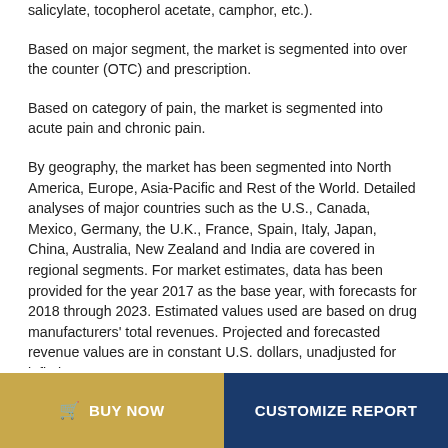salicylate, tocopherol acetate, camphor, etc.).
Based on major segment, the market is segmented into over the counter (OTC) and prescription.
Based on category of pain, the market is segmented into acute pain and chronic pain.
By geography, the market has been segmented into North America, Europe, Asia-Pacific and Rest of the World. Detailed analyses of major countries such as the U.S., Canada, Mexico, Germany, the U.K., France, Spain, Italy, Japan, China, Australia, New Zealand and India are covered in regional segments. For market estimates, data has been provided for the year 2017 as the base year, with forecasts for 2018 through 2023. Estimated values used are based on drug manufacturers' total revenues. Projected and forecasted revenue values are in constant U.S. dollars, unadjusted for inflation.
BUY NOW | CUSTOMIZE REPORT